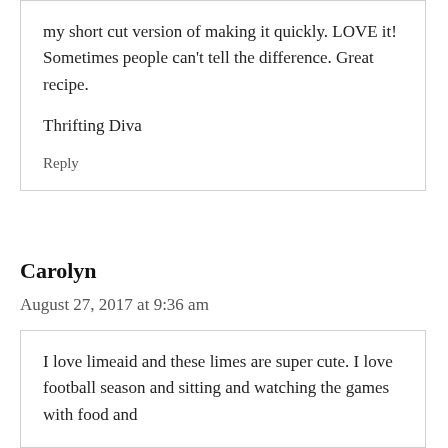my short cut version of making it quickly. LOVE it! Sometimes people can't tell the difference. Great recipe.
Thrifting Diva
Reply
Carolyn
August 27, 2017 at 9:36 am
I love limeaid and these limes are super cute. I love football season and sitting and watching the games with food and